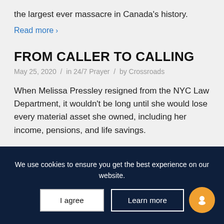the largest ever massacre in Canada's history.
Read more >
FROM CALLER TO CALLING
May 25, 2020 / in 24/7 Prayer / by Crossroads
When Melissa Pressley resigned from the NYC Law Department, it wouldn't be long until she would lose every material asset she owned, including her income, pensions, and life savings.
We use cookies to ensure you get the best experience on our website.